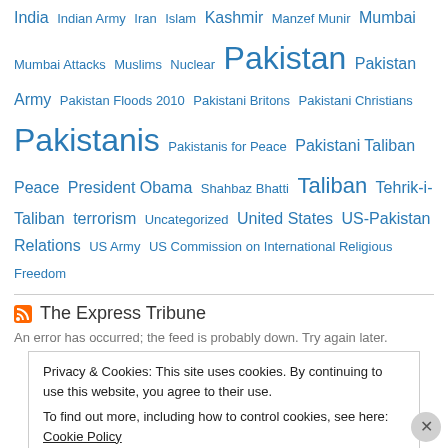India  Indian Army  Iran  Islam  Kashmir  Manzef Munir  Mumbai  Mumbai Attacks  Muslims  Nuclear  Pakistan  Pakistan Army  Pakistan Floods 2010  Pakistani Britons  Pakistani Christians  Pakistanis  Pakistanis for Peace  Pakistani Taliban  Peace  President Obama  Shahbaz Bhatti  Taliban  Tehrik-i-Taliban  terrorism  Uncategorized  United States  US-Pakistan Relations  US Army  US Commission on International Religious Freedom
The Express Tribune
An error has occurred; the feed is probably down. Try again later.
Privacy & Cookies: This site uses cookies. By continuing to use this website, you agree to their use.
To find out more, including how to control cookies, see here: Cookie Policy